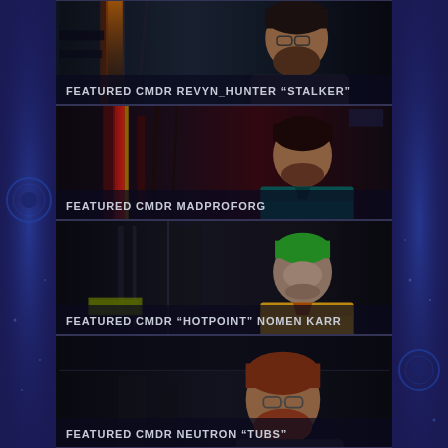[Figure (screenshot): Featured CMDR panel showing character REVYN_HUNTER in sci-fi cockpit environment, dark blue tones]
FEATURED CMDR REVYN_HUNTER “STALKER”
[Figure (screenshot): Featured CMDR panel showing character MADPROFORG in red sci-fi corridor environment]
FEATURED CMDR MADPROFORG
[Figure (screenshot): Featured CMDR panel showing character HOTPOINT NOMEN KARR with green hair in yellow jacket in sci-fi corridor]
FEATURED CMDR “HOTPOINT” NOMEN KARR
[Figure (screenshot): Featured CMDR panel showing character NEUTRON TUBS with red beard and glasses in dark transport interior]
FEATURED CMDR NEUTRON “TUBS”